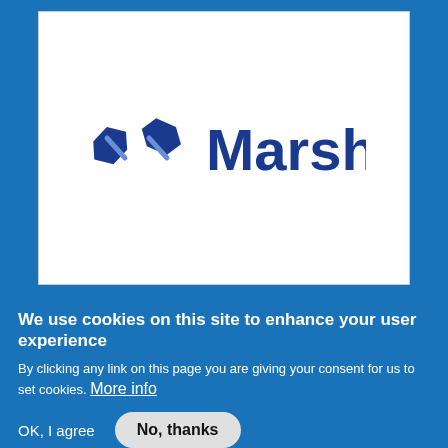[Figure (logo): Marsh logo — dark blue stylized infinity/loop symbol icon on the left, followed by the word 'Marsh' in large dark blue sans-serif text, displayed on a white card background.]
We use cookies on this site to enhance your user experience
By clicking any link on this page you are giving your consent for us to set cookies. More info
OK, I agree
No, thanks